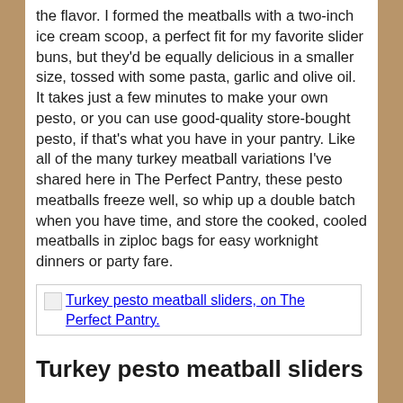the flavor. I formed the meatballs with a two-inch ice cream scoop, a perfect fit for my favorite slider buns, but they'd be equally delicious in a smaller size, tossed with some pasta, garlic and olive oil. It takes just a few minutes to make your own pesto, or you can use good-quality store-bought pesto, if that's what you have in your pantry. Like all of the many turkey meatball variations I've shared here in The Perfect Pantry, these pesto meatballs freeze well, so whip up a double batch when you have time, and store the cooked, cooled meatballs in ziploc bags for easy worknight dinners or party fare.
[Figure (photo): Image placeholder showing a broken image link labeled 'Turkey pesto meatball sliders, on The Perfect Pantry.']
Turkey pesto meatball sliders